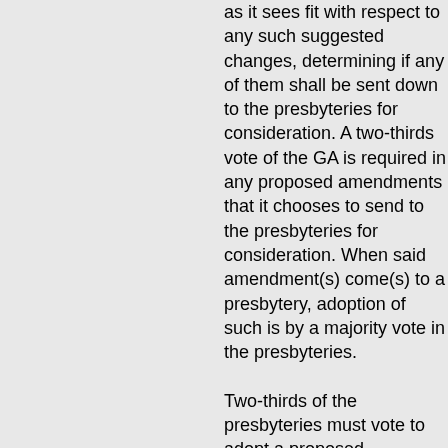as it sees fit with respect to any such suggested changes, determining if any of them shall be sent down to the presbyteries for consideration. A two-thirds vote of the GA is required in any proposed amendments that it chooses to send to the presbyteries for consideration. When said amendment(s) come(s) to a presbytery, adoption of such is by a majority vote in the presbyteries.

Two-thirds of the presbyteries must vote to adopt a proposed amendment, and the respective presbytery clerks must notify the stated clerk of the GA of such, in order for the next ensuing assembly to have opportunity